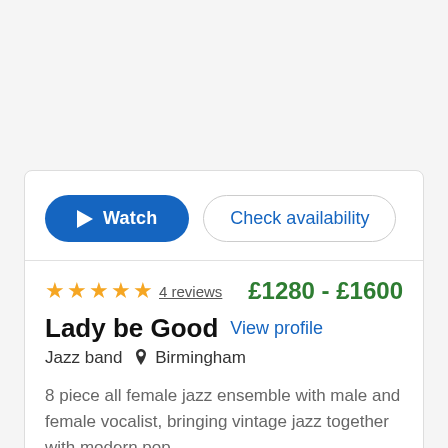[Figure (other): Watch and Check availability buttons for a music act listing]
★★★★★  4 reviews    £1280 - £1600
Lady be Good  View profile
Jazz band  📍 Birmingham
8 piece all female jazz ensemble with male and female vocalist, bringing vintage jazz together with modern pop.